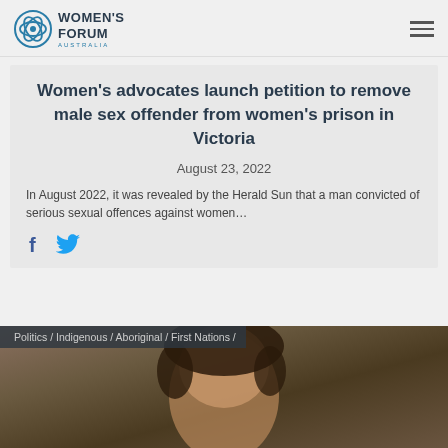WOMEN'S FORUM
Women's advocates launch petition to remove male sex offender from women's prison in Victoria
August 23, 2022
In August 2022, it was revealed by the Herald Sun that a man convicted of serious sexual offences against women…
[Figure (other): Social media share icons: Facebook (f) and Twitter (bird)]
Politics / Indigenous / Aboriginal / First Nations /
[Figure (photo): Photo of a woman with curly dark hair, partially visible, warm outdoor background]